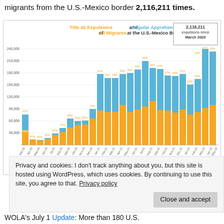migrants from the U.S.-Mexico border 2,116,211 times.
[Figure (stacked-bar-chart): Stacked bar chart showing Title 42 Expulsions (orange) and Regular Apprehensions (blue) of all migrants at the U.S.-Mexico Border from March 2020 through approximately May 2022. Annotation box shows 2,116,211 expulsions since March 2020.]
Privacy and cookies: I don't track anything about you, but this site is hosted using WordPress, which uses cookies. By continuing to use this site, you agree to that. Privacy policy
WOLA's July 1 Update: More than 180 U.S.